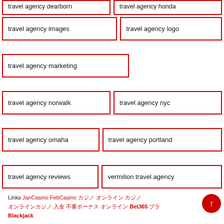travel agency dearborn
travel agency honda
travel agency images
travel agency logo
travel agency marketing
travel agency norwalk
travel agency nyc
travel agency omaha
travel agency portland
travel agency reviews
vermilion travel agency
Links JanCasino FebCasino カジノ オンライン カジノ オンラインカジノ 入金 不要ボーナス オンライン Bet365 ブラック Blackjack